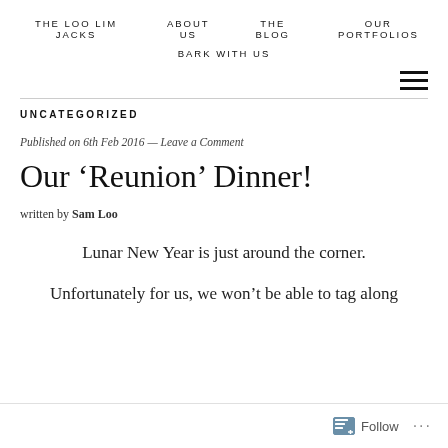THE LOO LIM JACKS   ABOUT US   THE BLOG   OUR PORTFOLIOS   BARK WITH US
UNCATEGORIZED
Published on 6th Feb 2016 — Leave a Comment
Our ‘Reunion’ Dinner!
written by Sam Loo
Lunar New Year is just around the corner.
Unfortunately for us, we won’t be able to tag along